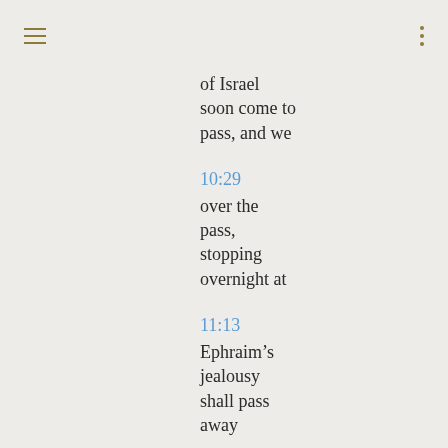of Israel soon come to pass, and we
10:29
over the pass, stopping overnight at
11:13
Ephraim’s jealousy shall pass away
28:20
shall come to pass the proverb: The
33:21